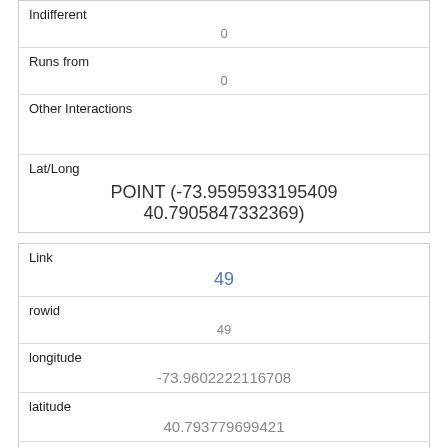| Indifferent | 0 |
| Runs from | 0 |
| Other Interactions |  |
| Lat/Long | POINT (-73.9595933195409 40.7905847332369) |
| Link | 49 |
| rowid | 49 |
| longitude | -73.9602222116708 |
| latitude | 40.793779699421 |
| Unique Squirrel ID | 35C-AM-1007-05 |
| Hectare | 35C |